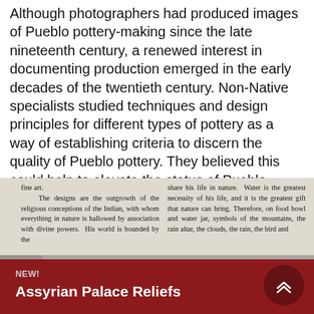Although photographers had produced images of Pueblo pottery-making since the late nineteenth century, a renewed interest in documenting production emerged in the early decades of the twentieth century. Non-Native specialists studied techniques and design principles for different types of pottery as a way of establishing criteria to discern the quality of Pueblo pottery. They believed this could help to elevate the status of Pueblo pottery to fine art.
fine art.
    The designs are the outgrowth of the religious conceptions of the Indian, with whom everything in nature is hallowed by association with divine powers. His world is bounded by the
share his life in nature.  Water is the greatest necessity of his life, and it is the greatest gift that nature can bring. Therefore, on food bowl and water jar, symbols of the mountains, the rain altar, the clouds, the rain, the bird and
[Figure (photo): Black and white photograph showing a collection of Pueblo pottery vessels of various sizes arranged together, displayed from above/front angle.]
Assyrian Palace Reliefs